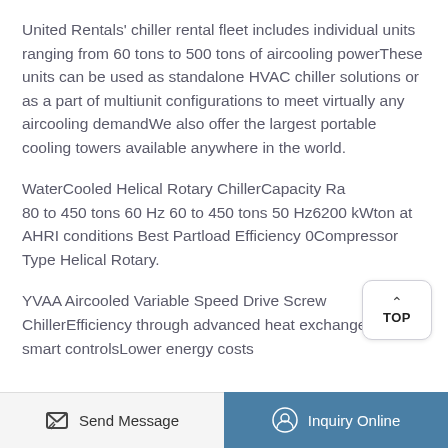United Rentals' chiller rental fleet includes individual units ranging from 60 tons to 500 tons of aircooling powerThese units can be used as standalone HVAC chiller solutions or as a part of multiunit configurations to meet virtually any aircooling demandWe also offer the largest portable cooling towers available anywhere in the world.
WaterCooled Helical Rotary ChillerCapacity Range 80 to 450 tons 60 Hz 60 to 450 tons 50 Hz6200 kWton at AHRI conditions Best Partload Efficiency 0Compressor Type Helical Rotary.
YVAA Aircooled Variable Speed Drive Screw ChillerEfficiency through advanced heat exchangers and smart controlsLower energy costs